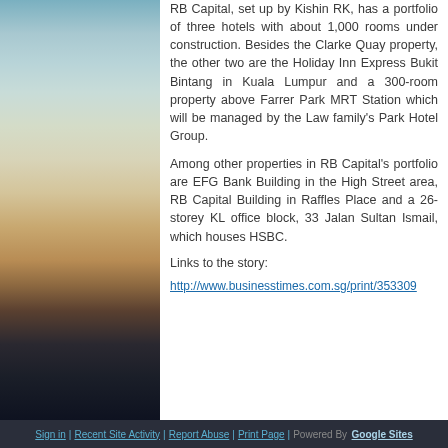RB Capital, set up by Kishin RK, has a portfolio of three hotels with about 1,000 rooms under construction. Besides the Clarke Quay property, the other two are the Holiday Inn Express Bukit Bintang in Kuala Lumpur and a 300-room property above Farrer Park MRT Station which will be managed by the Law family's Park Hotel Group.
Among other properties in RB Capital's portfolio are EFG Bank Building in the High Street area, RB Capital Building in Raffles Place and a 26-storey KL office block, 33 Jalan Sultan Ismail, which houses HSBC.
Links to the story:
http://www.businesstimes.com.sg/print/353309
Sign in | Recent Site Activity | Report Abuse | Print Page | Powered By  Google Sites